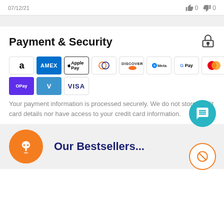07/12/21  👍 0  👎 0
Payment & Security
[Figure (infographic): Payment method logos: Amazon, AMEX, Apple Pay, Diners Club, Discover, Meta Pay, Google Pay, Mastercard, PayPal, O Pay, Venmo, Visa]
Your payment information is processed securely. We do not store credit card details nor have access to your credit card information.
Our Bestsellers...